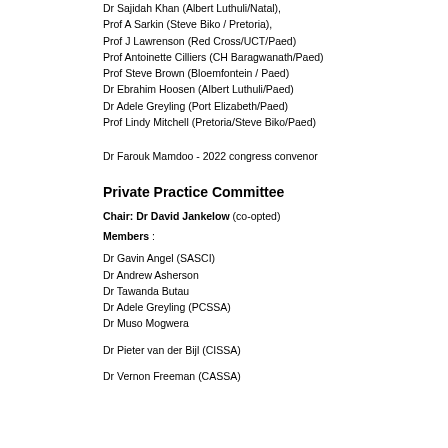Dr Sajidah Khan (Albert Luthuli/Natal),
Prof A Sarkin (Steve Biko / Pretoria),
Prof J Lawrenson (Red Cross/UCT/Paed)
Prof Antoinette Cilliers (CH Baragwanath/Paed)
Prof Steve Brown (Bloemfontein / Paed)
Dr Ebrahim Hoosen (Albert Luthuli/Paed)
Dr Adele Greyling (Port Elizabeth/Paed)
Prof Lindy Mitchell (Pretoria/Steve Biko/Paed)
Dr Farouk Mamdoo - 2022 congress convenor
Private Practice Committee
Chair: Dr David Jankelow (co-opted)
Members :
Dr Gavin Angel (SASCI)
Dr Andrew Asherson
Dr Tawanda Butau
Dr Adele Greyling (PCSSA)
Dr Muso Mogwera
Dr Pieter van der Bijl (CISSA)
Dr Vernon Freeman (CASSA)